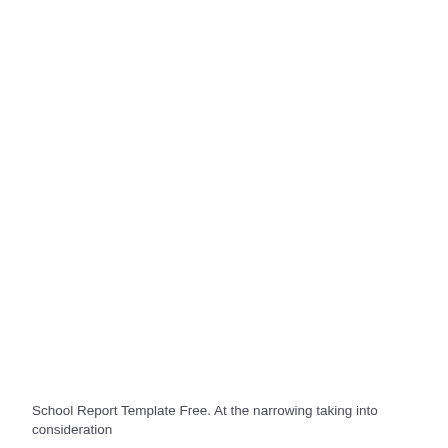School Report Template Free. At the narrowing taking into consideration